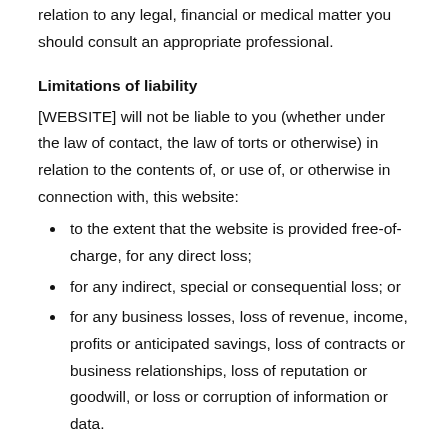relation to any legal, financial or medical matter you should consult an appropriate professional.
Limitations of liability
[WEBSITE] will not be liable to you (whether under the law of contact, the law of torts or otherwise) in relation to the contents of, or use of, or otherwise in connection with, this website:
to the extent that the website is provided free-of-charge, for any direct loss;
for any indirect, special or consequential loss; or
for any business losses, loss of revenue, income, profits or anticipated savings, loss of contracts or business relationships, loss of reputation or goodwill, or loss or corruption of information or data.